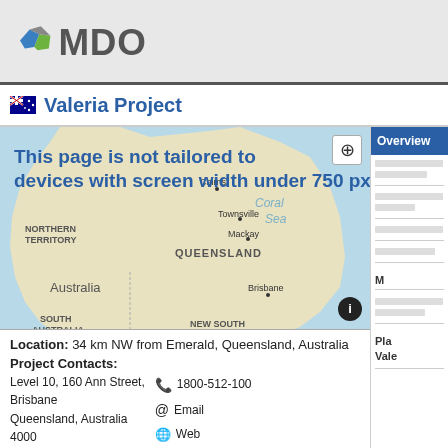MDO (logo)
Valeria Project
[Figure (map): Map of Queensland, Australia showing location near Emerald, with overlay text: 'This page is not tailored to devices with screen width under 750 px.']
Location: 34 km NW from Emerald, Queensland, Australia
Project Contacts:
Level 10, 160 Ann Street,
Brisbane
Queensland, Australia
4000
1800-512-100
Email
Web
Overview
Pla
Vale